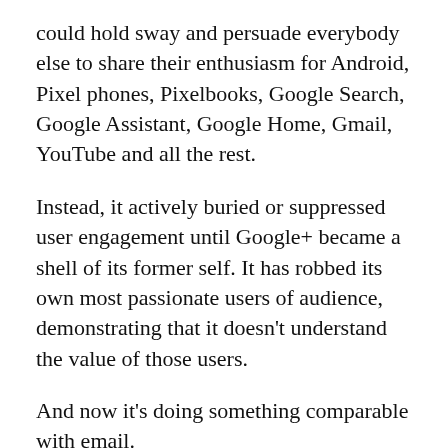could hold sway and persuade everybody else to share their enthusiasm for Android, Pixel phones, Pixelbooks, Google Search, Google Assistant, Google Home, Gmail, YouTube and all the rest.
Instead, it actively buried or suppressed user engagement until Google+ became a shell of its former self. It has robbed its own most passionate users of audience, demonstrating that it doesn't understand the value of those users.
And now it's doing something comparable with email.
Google giveth, and Google taketh away
Google this week announced the end of two email-related products.
The first is the experimental alternative to Gmail called Inbox. The other is a Chrome app for offline Gmail.